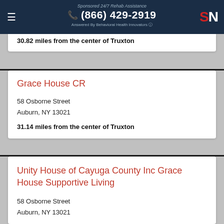Sponsored 24/7 Rehab Assistance (866) 429-2919 Answered By Behavioral Health Innovators
30.82 miles from the center of Truxton
Grace House CR
58 Osborne Street
Auburn, NY 13021
31.14 miles from the center of Truxton
Unity House of Cayuga County Inc Grace House Supportive Living
58 Osborne Street
Auburn, NY 13021